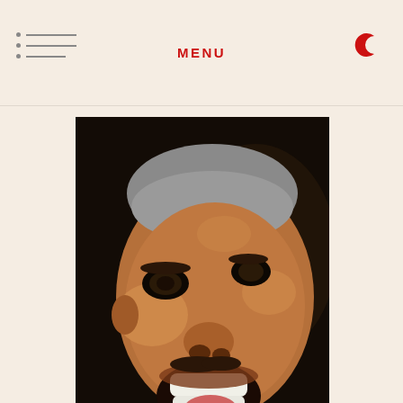MENU
[Figure (photo): A man with grey hair laughing with mouth wide open, wearing a black jacket and white shirt, dark background, warm-toned photograph]
Advertise In Boog City
[Figure (illustration): Black and white illustration of a person with glasses, partially visible at bottom of page]